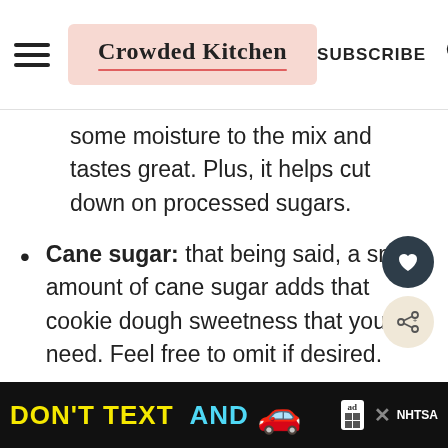Crowded Kitchen | SUBSCRIBE
some moisture to the mix and tastes great. Plus, it helps cut down on processed sugars.
Cane sugar: that being said, a small amount of cane sugar adds that cookie dough sweetness that you need. Feel free to omit if desired.
Oat flour: oat flour doesn't need to be pasteurized, so it's perfectly safe to
[Figure (other): Advertisement banner: DON'T TEXT AND [car emoji] with NHTSA ad logo]